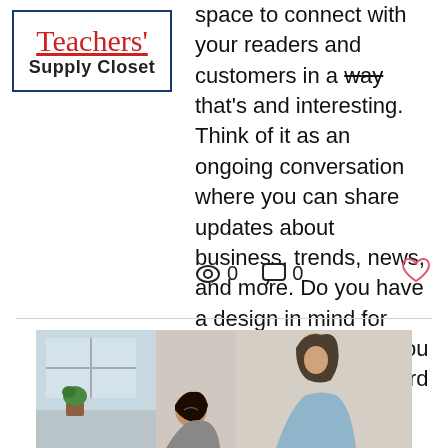[Figure (logo): Teachers' Supply Closet logo — cursive red 'Teachers'' text with underline above bold sans-serif 'Supply Closet', inside a blue rectangular border]
space to connect with your readers and customers in a way that's and interesting. Think of it as an ongoing conversation where you can share updates about business, trends, news, and more. Do you have a design in mind for your blog? Whether you prefer a trendy postcard look or you're going f
0  0
[Figure (photo): Photo of a woman (mother) leaning down smiling at a young girl (child), both appearing happy, indoor home setting]